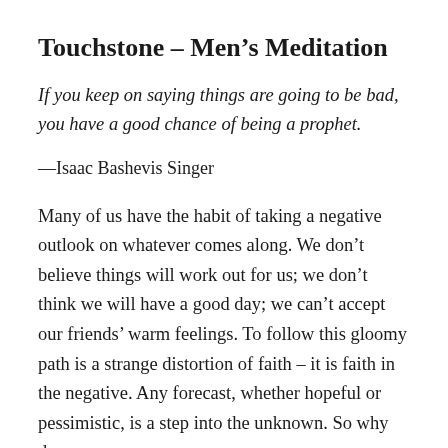Touchstone – Men's Meditation
If you keep on saying things are going to be bad, you have a good chance of being a prophet.
—Isaac Bashevis Singer
Many of us have the habit of taking a negative outlook on whatever comes along. We don't believe things will work out for us; we don't think we will have a good day; we can't accept our friends' warm feelings. To follow this gloomy path is a strange distortion of faith – it is faith in the negative. Any forecast, whether hopeful or pessimistic, is a step into the unknown. So why do